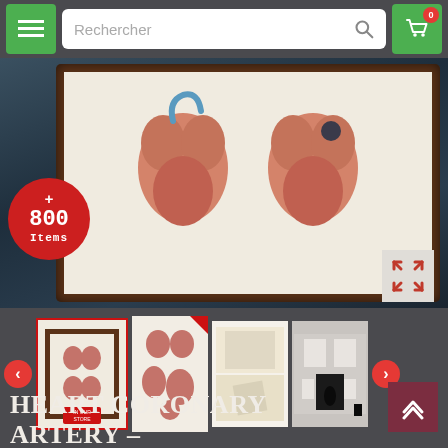[Figure (screenshot): E-commerce website screenshot showing a search bar with 'Rechercher' placeholder, green hamburger menu button, green shopping cart with badge showing '0']
[Figure (photo): Main hero image showing anatomical heart coronary artery illustration in a dark wooden frame against a dark blue-grey background, with a red circular badge showing '+ 800 Items' and an expand icon]
[Figure (photo): Thumbnail gallery row showing four product images: framed heart illustration (selected, red border), heart anatomy print, product size guide, and gallery/exhibition display. Navigation arrows on each side.]
HEART CORONARY ARTERY – CARDIOLOGIST AND